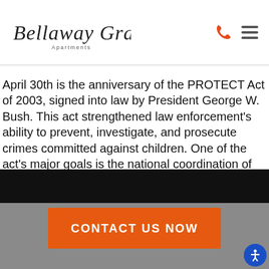[Figure (logo): Bellaway Grand Apartments cursive logo with phone icon and hamburger menu]
April 30th is the anniversary of the PROTECT Act of 2003, signed into law by President George W. Bush. This act strengthened law enforcement's ability to prevent, investigate, and prosecute crimes committed against children. One of the act's major goals is the national coordination of the AMBER (America's Missing: Broadcast Emergency Response) Alert Program. The AMBER Alert Program began in …
[Figure (photo): Black image bar (truncated photo)]
CONTACT US NOW